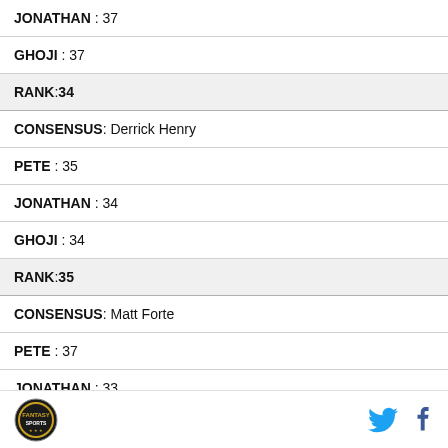JONATHAN : 37
GHOJI : 37
RANK : 34
CONSENSUS : Derrick Henry
PETE : 35
JONATHAN : 34
GHOJI : 34
RANK : 35
CONSENSUS : Matt Forte
PETE : 37
JONATHAN : 33
logo | twitter | facebook